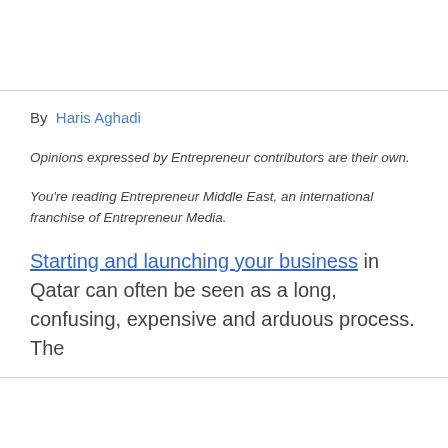By  Haris Aghadi
Opinions expressed by Entrepreneur contributors are their own.
You're reading Entrepreneur Middle East, an international franchise of Entrepreneur Media.
Starting and launching your business in Qatar can often be seen as a long, confusing, expensive and arduous process. The